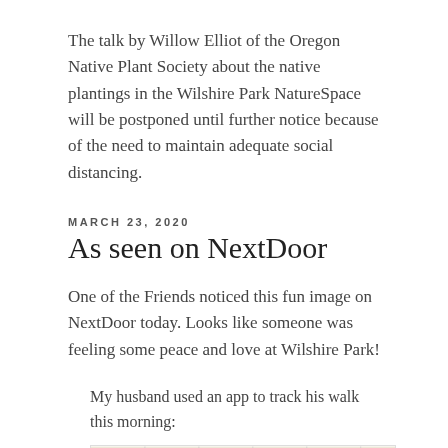The talk by Willow Elliot of the Oregon Native Plant Society about the native plantings in the Wilshire Park NatureSpace will be postponed until further notice because of the need to maintain adequate social distancing.
MARCH 23, 2020
As seen on NextDoor
One of the Friends noticed this fun image on NextDoor today. Looks like someone was feeling some peace and love at Wilshire Park!
My husband used an app to track his walk this morning:
[Figure (map): A map screenshot showing a walking route tracked via an app near Wilshire Park, with NE label visible and grid pattern of the park area.]